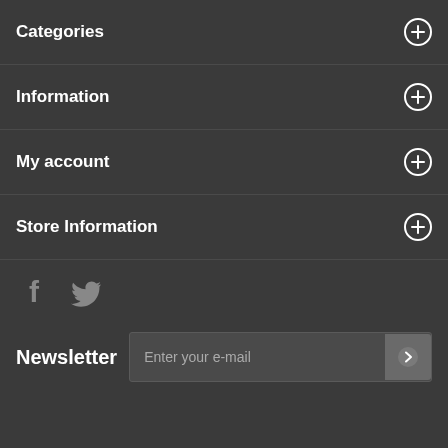Categories
Information
My account
Store Information
[Figure (illustration): Facebook and Twitter social media icons in gray]
Newsletter  Enter your e-mail